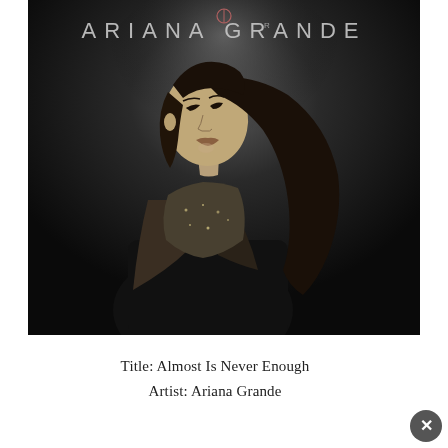[Figure (photo): Black and white album cover artwork for Ariana Grande's 'Almost Is Never Enough'. Shows a young woman with long dark hair pulled back, looking upward and to the left against a dark background. The artist name 'ARIANA GRANDE' appears in light gray/white letters at the top of the image, with a small circular logo above the 'A'. The subject is wearing what appears to be a sparkly or embellished top.]
Title: Almost Is Never Enough
Artist: Ariana Grande